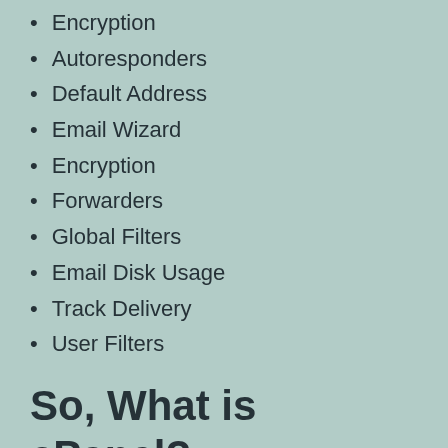Encryption
Autoresponders
Default Address
Email Wizard
Encryption
Forwarders
Global Filters
Email Disk Usage
Track Delivery
User Filters
So, What is cPanel?
cPanel is one of the most popular Linux-based